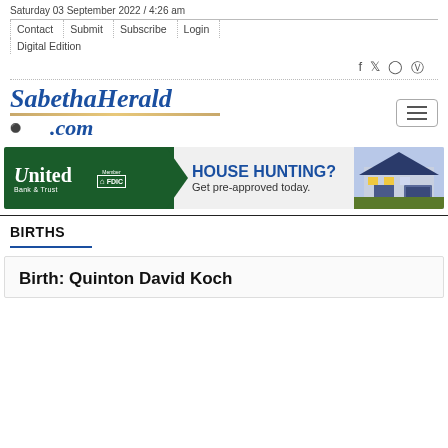Saturday 03 September 2022 / 4:26 am
Contact | Submit | Subscribe | Login | Digital Edition
[Figure (logo): SabethaHerald.com logo in blue italic serif font with decorative tan underline and globe icon]
[Figure (infographic): United Bank & Trust Member FDIC advertisement banner: HOUSE HUNTING? Get pre-approved today. Features green left panel with bank logo and arrow shape, and right panel with house image.]
BIRTHS
Birth: Quinton David Koch